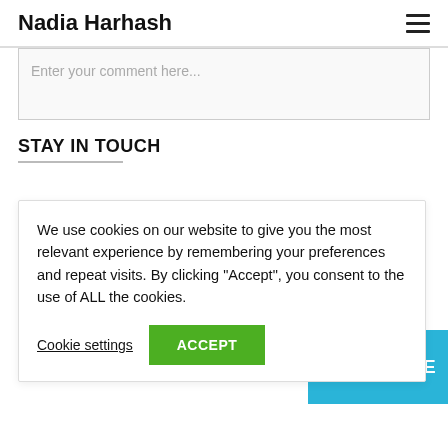Nadia Harhash
Enter your comment here...
STAY IN TOUCH
We use cookies on our website to give you the most relevant experience by remembering your preferences and repeat visits. By clicking “Accept”, you consent to the use of ALL the cookies.
Cookie settings  ACCEPT
SUBSCRIBE